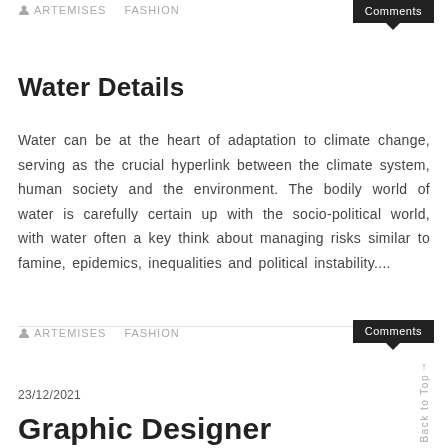ARTEMISES   FASHION   Comments
Water Details
Water can be at the heart of adaptation to climate change, serving as the crucial hyperlink between the climate system, human society and the environment. The bodily world of water is carefully certain up with the socio-political world, with water often a key think about managing risks similar to famine, epidemics, inequalities and political instability....
ARTEMISES   FASHION   Comments
23/12/2021
Graphic Designer